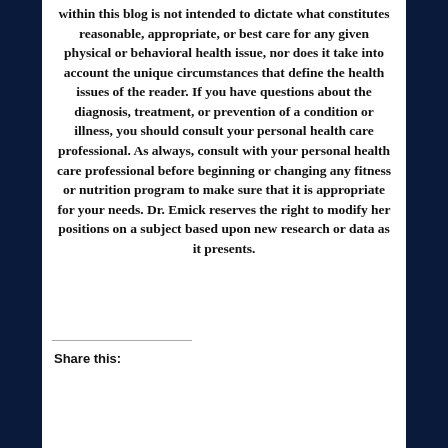within this blog is not intended to dictate what constitutes reasonable, appropriate, or best care for any given physical or behavioral health issue, nor does it take into account the unique circumstances that define the health issues of the reader. If you have questions about the diagnosis, treatment, or prevention of a condition or illness, you should consult your personal health care professional. As always, consult with your personal health care professional before beginning or changing any fitness or nutrition program to make sure that it is appropriate for your needs. Dr. Emick reserves the right to modify her positions on a subject based upon new research or data as it presents.
Share this: